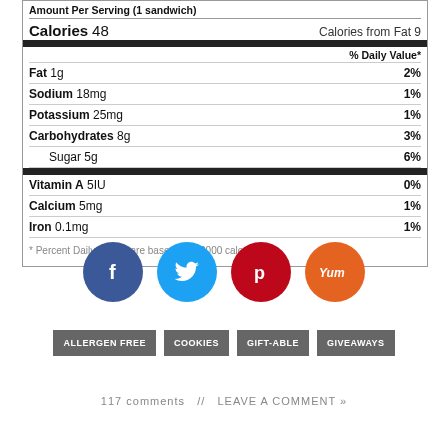| Nutrient | Amount | % Daily Value |
| --- | --- | --- |
| Amount Per Serving (1 sandwich) |  |  |
| Calories | 48 | Calories from Fat 9 |
| Fat | 1g | 2% |
| Sodium | 18mg | 1% |
| Potassium | 25mg | 1% |
| Carbohydrates | 8g | 3% |
| Sugar | 5g | 6% |
| Vitamin A | 5IU | 0% |
| Calcium | 5mg | 1% |
| Iron | 0.1mg | 1% |
* Percent Daily Values are based on a 2000 calorie diet.
[Figure (infographic): Four circular social share buttons: Facebook (dark blue, f), Twitter (light blue, bird), Pinterest (red, p), Yummly (orange, Yum)]
ALLERGEN FREE  COOKIES  GIFT-ABLE  GIVEAWAYS
117 comments  //  LEAVE A COMMENT »